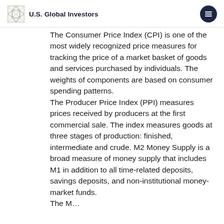U.S. Global Investors
The Consumer Price Index (CPI) is one of the most widely recognized price measures for tracking the price of a market basket of goods and services purchased by individuals. The weights of components are based on consumer spending patterns. The Producer Price Index (PPI) measures prices received by producers at the first commercial sale. The index measures goods at three stages of production: finished, intermediate and crude. M2 Money Supply is a broad measure of money supply that includes M1 in addition to all time-related deposits, savings deposits, and non-institutional money-market funds. The MSCI...